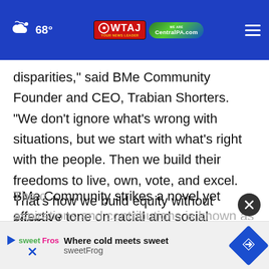68° WTAJ YOUR NEWS LEADER CentralPA.com
disparities," said BMe Community Founder and CEO, Trabian Shorters. "We don't ignore what's wrong with situations, but we start with what's right with the people. Then we build their freedoms to live, own, vote, and excel. That's how we build equity without stigma."
BMe Community strikes a novel yet effective tone on racial and social progress.
The c aspirations and contributions is known as
[Figure (other): Advertisement banner for sweetFrog: 'Where cold meets sweet sweetFrog' with logo and blue arrow sign icon]